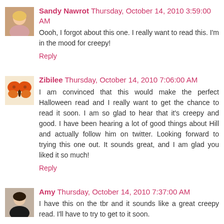[Figure (photo): Avatar photo of Sandy Nawrot - woman with blonde hair]
Sandy Nawrot Thursday, October 14, 2010 3:59:00 AM
Oooh, I forgot about this one. I really want to read this. I'm in the mood for creepy!
Reply
[Figure (photo): Avatar photo of Zibilee - butterfly image]
Zibilee Thursday, October 14, 2010 7:06:00 AM
I am convinced that this would make the perfect Halloween read and I really want to get the chance to read it soon. I am so glad to hear that it's creepy and good. I have been hearing a lot of good things about Hill and actually follow him on twitter. Looking forward to trying this one out. It sounds great, and I am glad you liked it so much!
Reply
[Figure (photo): Avatar photo of Amy - woman with dark hair]
Amy Thursday, October 14, 2010 7:37:00 AM
I have this on the tbr and it sounds like a great creepy read. I'll have to try to get to it soon.
Reply